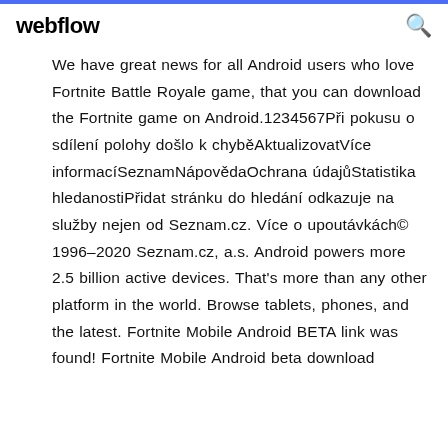webflow
We have great news for all Android users who love Fortnite Battle Royale game, that you can download the Fortnite game on Android.1234567Při pokusu o sdílení polohy došlo k chyběAktualizovatVíce informacíSeznamNápovědaOchrana údajůStatistika hledanostiPřidat stránku do hledání odkazuje na služby nejen od Seznam.cz. Více o upoutávkách© 1996–2020 Seznam.cz, a.s. Android powers more 2.5 billion active devices. That's more than any other platform in the world. Browse tablets, phones, and the latest. Fortnite Mobile Android BETA link was found! Fortnite Mobile Android beta download